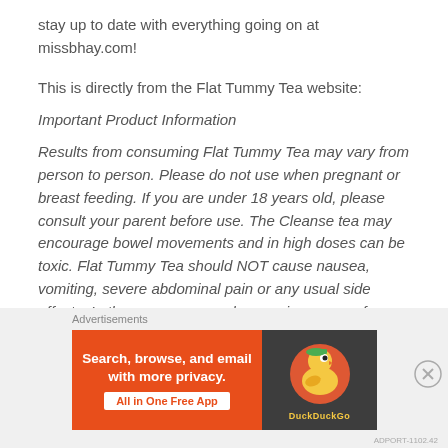stay up to date with everything going on at missbhay.com!
This is directly from the Flat Tummy Tea website:
Important Product Information
Results from consuming Flat Tummy Tea may vary from person to person. Please do not use when pregnant or breast feeding. If you are under 18 years old, please consult your parent before use. The Cleanse tea may encourage bowel movements and in high doses can be toxic. Flat Tummy Tea should NOT cause nausea, vomiting, severe abdominal pain or any usual side effects. In the rare case you do experience any of these, stop use immediately and consult your doctor. May contain traces of gluten. Product not intended for ongoing use, see FAQ for more info. Consult your doctor if
[Figure (infographic): DuckDuckGo advertisement banner: orange background on left with text 'Search, browse, and email with more privacy. All in One Free App' and dark background on right with DuckDuckGo logo]